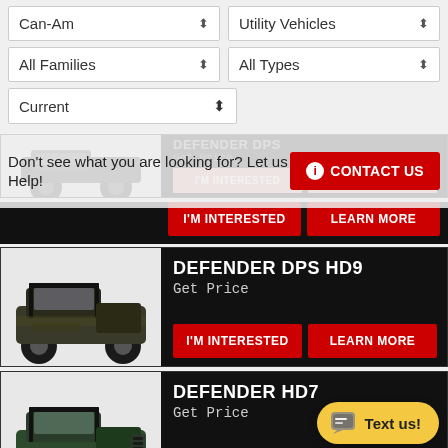Can-Am | Utility Vehicles
All Families | All Types
Current
Don't see what you are looking for? Let us Help!
CONTACT US
[Figure (photo): Partially visible Can-Am Defender DPS utility vehicle, dark/black color, top portion cut off. Buttons: I'M INTERESTED, LEARN MORE (faded pink).]
DEFENDER DPS
I'M INTERESTED
LEARN MORE
[Figure (photo): Can-Am Defender DPS HD9 utility side-by-side vehicle in camouflage/dark color on white/grey background.]
DEFENDER DPS HD9
Get Price
I'M INTERESTED
LEARN MORE
[Figure (photo): Can-Am Defender HD7 utility side-by-side vehicle in dark green on white/grey background.]
DEFENDER HD7
Get Price
I'M INTERESTED
LEARN MORE
Text us!